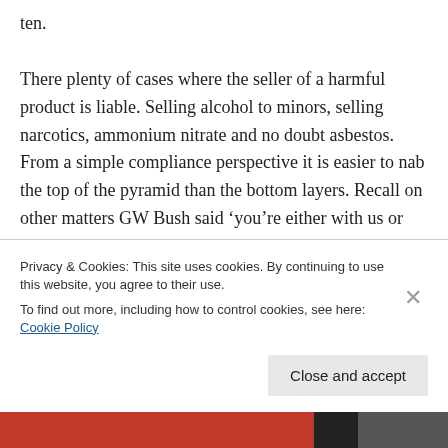ten.

There plenty of cases where the seller of a harmful product is liable. Selling alcohol to minors, selling narcotics, ammonium nitrate and no doubt asbestos. From a simple compliance perspective it is easier to nab the top of the pyramid than the bottom layers. Recall on other matters GW Bush said ‘you’re either with us or against us’. My question to China is ‘are you serious about reducing emissions?’ That’s all
Privacy & Cookies: This site uses cookies. By continuing to use this website, you agree to their use.
To find out more, including how to control cookies, see here: Cookie Policy
Close and accept